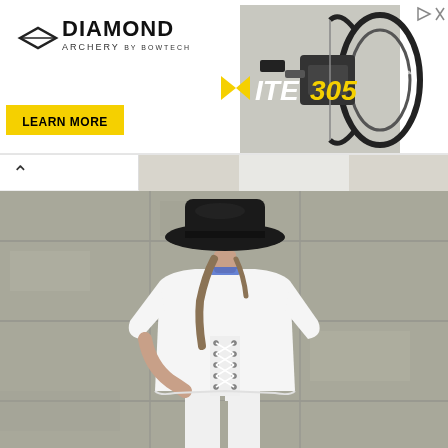[Figure (photo): Diamond Archery advertisement banner featuring a compound bow (Infinite 305 model), with a yellow 'LEARN MORE' button on the left and archery equipment image on the right. Small ad icons in the top right corner.]
[Figure (photo): Fashion photo showing a person from behind wearing a white lace-up back t-shirt and white pants, with a black wide-brim hat, standing against a concrete wall background.]